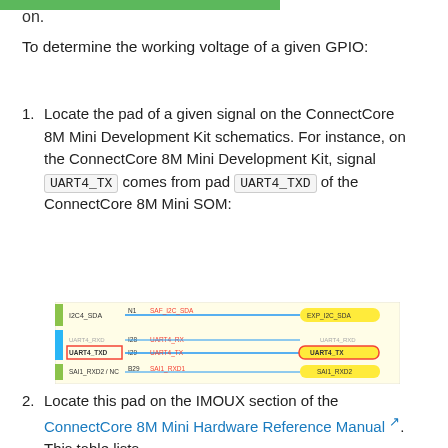on.
To determine the working voltage of a given GPIO:
Locate the pad of a given signal on the ConnectCore 8M Mini Development Kit schematics. For instance, on the ConnectCore 8M Mini Development Kit, signal UART4_TX comes from pad UART4_TXD of the ConnectCore 8M Mini SOM:
[Figure (schematic): Schematic excerpt showing ConnectCore 8M Mini SOM signal mapping. Highlighted row shows UART4_TXD pad (I29) connected to UART4_TX signal, with red border around UART4_TXD label and yellow highlighted UART4_TX output. Other visible signals include I2C4_SDA, UART4_RXD, and SAI1_RXD2/NC.]
Locate this pad on the IMOUX section of the ConnectCore 8M Mini Hardware Reference Manual. This table lists